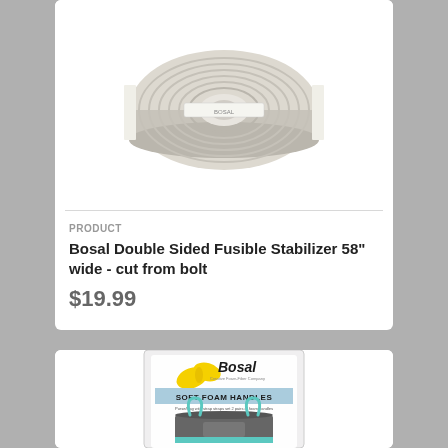[Figure (photo): A roll of Bosal Double Sided Fusible Stabilizer fabric, beige/tan colored, rolled on a white cardboard core, viewed from the end.]
PRODUCT
Bosal Double Sided Fusible Stabilizer 58" wide - cut from bolt
$19.99
[Figure (photo): A packaged Bosal Soft Foam Handles product in a clear plastic bag showing the Bosal butterfly logo and a gray tote bag with teal handles on the label.]